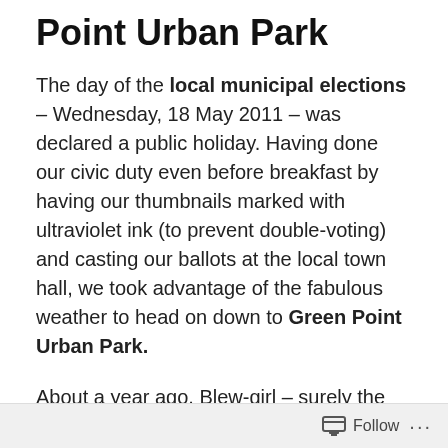Point Urban Park
The day of the local municipal elections – Wednesday, 18 May 2011 – was declared a public holiday. Having done our civic duty even before breakfast by having our thumbnails marked with ultraviolet ink (to prevent double-voting) and casting our ballots at the local town hall, we took advantage of the fabulous weather to head on down to Green Point Urban Park.
About a year ago, Blew-girl – surely the most beautiful border collie in the world – had shown us all around 'her' Park, which was still under construction at the time. Have a look here. Since then, we have walked around the Park on a couple of occasions (lots of photos can be found here), and each time, there was something new to see. We were curious: What would be waiting for us this time?
Follow ...